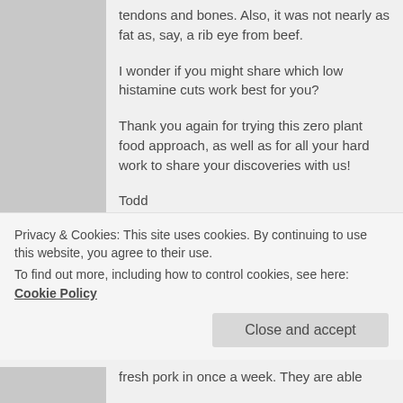tendons and bones. Also, it was not nearly as fat as, say, a rib eye from beef.
I wonder if you might share which low histamine cuts work best for you?
Thank you again for trying this zero plant food approach, as well as for all your hard work to share your discoveries with us!
Todd
★ Like
Reply ↓
Privacy & Cookies: This site uses cookies. By continuing to use this website, you agree to their use.
To find out more, including how to control cookies, see here: Cookie Policy
Close and accept
fresh pork in once a week. They are able